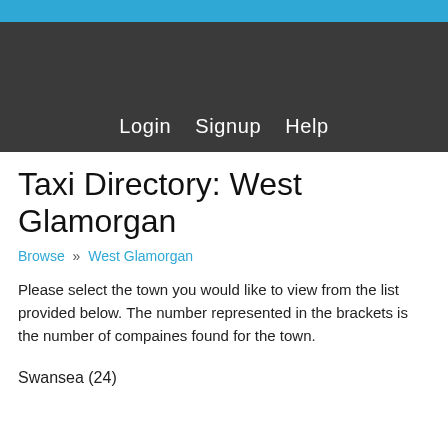Taxi Directory: West Glamorgan
Browse » West Glamorgan
Please select the town you would like to view from the list provided below. The number represented in the brackets is the number of compaines found for the town.
Swansea (24)